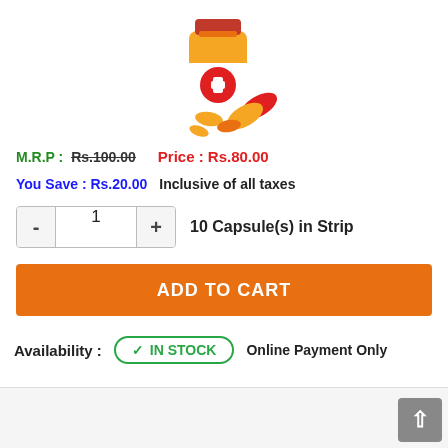[Figure (illustration): Pharmacy/medicine product image showing an orange medicine bottle with a red cap and a red plus symbol, alongside orange capsule pills, styled as a flat icon.]
M.R.P : Rs.100.00   Price : Rs.80.00
You Save : Rs.20.00   Inclusive of all taxes
1   10 Capsule(s) in Strip
ADD TO CART
Availability :   IN STOCK   Online Payment Only